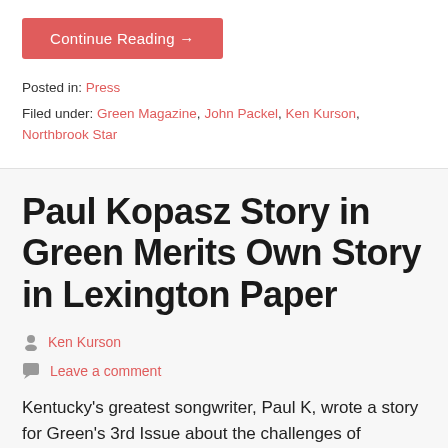Continue Reading →
Posted in: Press
Filed under: Green Magazine, John Packel, Ken Kurson, Northbrook Star
Paul Kopasz Story in Green Merits Own Story in Lexington Paper
Ken Kurson
Leave a comment
Kentucky's greatest songwriter, Paul K, wrote a story for Green's 3rd Issue about the challenges of financing an indie